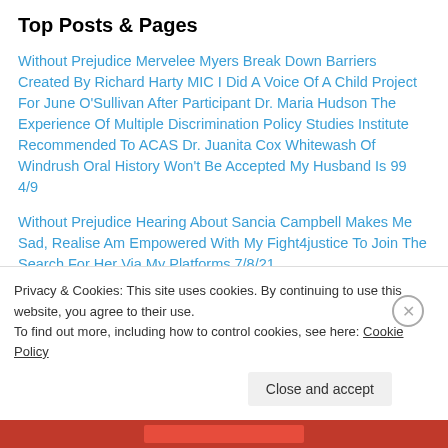Top Posts & Pages
Without Prejudice Mervelee Myers Break Down Barriers Created By Richard Harty MIC I Did A Voice Of A Child Project For June O'Sullivan After Participant Dr. Maria Hudson The Experience Of Multiple Discrimination Policy Studies Institute Recommended To ACAS Dr. Juanita Cox Whitewash Of Windrush Oral History Won't Be Accepted My Husband Is 99 4/9
Without Prejudice Hearing About Sancia Campbell Makes Me Sad, Realise Am Empowered With My Fight4justice To Join The Search For Her Via My Platforms 7/8/21
Without Prejudice Mervelee Myers Challenges Ofsted, DBS, LEA, LSB, Southwark Council SEND Section, NHS, HMCTS, CPS, CJS, MOPAC, IOPC, JCIO, CCMCC, BSB,
Privacy & Cookies: This site uses cookies. By continuing to use this website, you agree to their use.
To find out more, including how to control cookies, see here: Cookie Policy
Close and accept